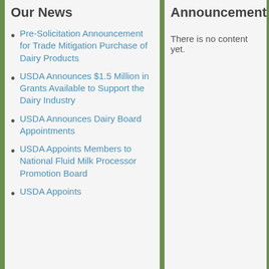Our News
Pre-Solicitation Announcement for Trade Mitigation Purchase of Dairy Products
USDA Announces $1.5 Million in Grants Available to Support the Dairy Industry
USDA Announces Dairy Board Appointments
USDA Appoints Members to National Fluid Milk Processor Promotion Board
USDA Appoints
Announcements
There is no content yet.